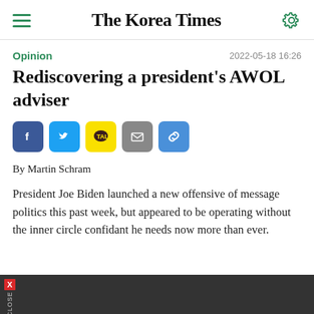The Korea Times
Opinion  2022-05-18 16:26
Rediscovering a president's AWOL adviser
[Figure (other): Social sharing buttons: Facebook, Twitter, KakaoTalk, Email, Link]
By Martin Schram
President Joe Biden launched a new offensive of message politics this past week, but appeared to be operating without the inner circle confidant he needs now more than ever.
[Figure (other): Advertisement close bar at bottom with red X and CLOSE label]